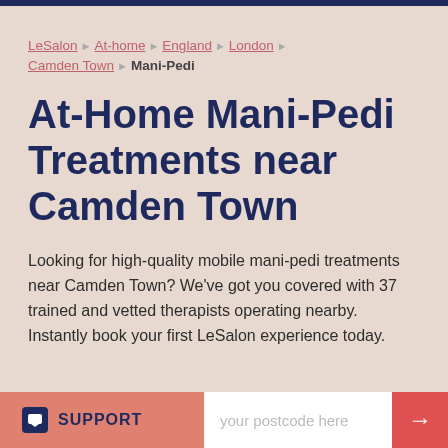LeSalon ▶ At-home ▶ England ▶ London ▶
Camden Town ▶ Mani-Pedi
At-Home Mani-Pedi Treatments near Camden Town
Looking for high-quality mobile mani-pedi treatments near Camden Town? We've got you covered with 37 trained and vetted therapists operating nearby. Instantly book your first LeSalon experience today.
SUPPORT  [your postcode here]  →